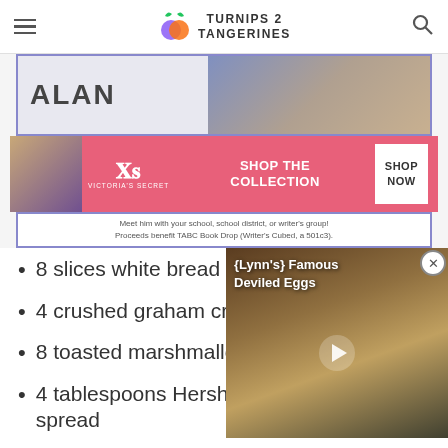Turnips 2 Tangerines
[Figure (screenshot): Advertisement banner with 'ALAN' text and a man's face photo, bordered in blue/purple]
[Figure (screenshot): Victoria's Secret advertisement: pink background with woman photo, VS logo, 'SHOP THE COLLECTION' text, and 'SHOP NOW' button]
Meet him with your school, school district, or writer's group! Proceeds benefit TABC Book Drop (Writer's Cubed, a 501c3).
8 slices white bread
4 crushed graham crac…
8 toasted marshmallow…
[Figure (screenshot): Video thumbnail overlay showing '{Lynn's} Famous Deviled Eggs' with play button and food image]
4 tablespoons Hershey's chocolate spread
CLOSE
Cook…
[Figure (screenshot): MAC cosmetics advertisement with lipstick products, MAC logo, and 'SHOP NOW' button]